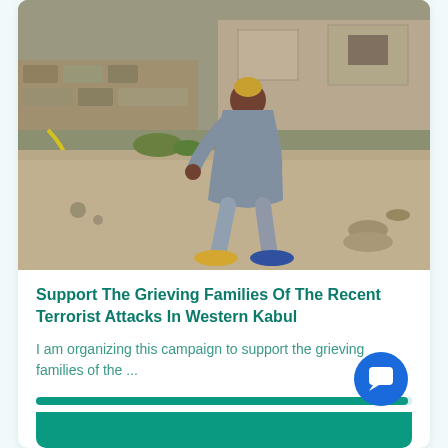[Figure (photo): A person wearing a long grey robe/shalwar kameez and blue sneakers, walking/shuffling across a dirt courtyard. The background shows a stone wall, debris, and sparse vegetation. The scene appears to be in a rural or semi-urban area.]
Support The Grieving Families Of The Recent Terrorist Attacks In Western Kabul
I am organizing this campaign to support the grieving families of the ...
100 raised of $10000